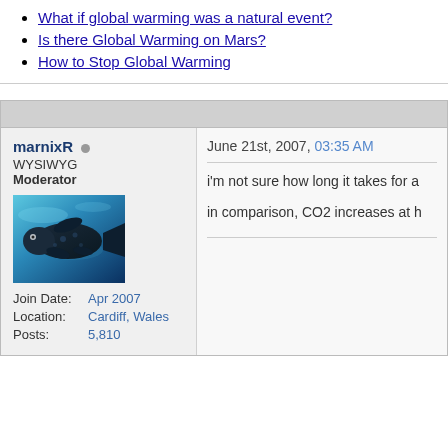What if global warming was a natural event?
Is there Global Warming on Mars?
How to Stop Global Warming
marnixR
WYSIWYG
Moderator
[Figure (photo): Avatar image of a fish/coelacanth underwater with blue-toned water background]
Join Date: Apr 2007
Location: Cardiff, Wales
Posts: 5,810
June 21st, 2007, 03:35 AM
i'm not sure how long it takes for a
in comparison, CO2 increases at h